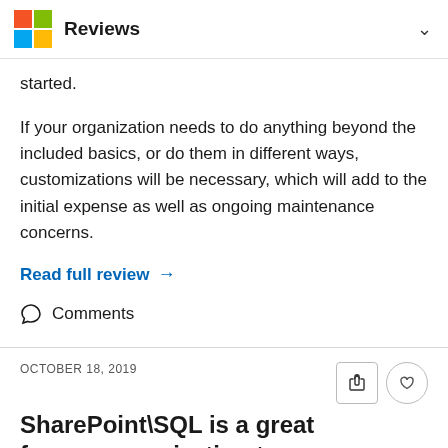Reviews
started.
If your organization needs to do anything beyond the included basics, or do them in different ways, customizations will be necessary, which will add to the initial expense as well as ongoing maintenance concerns.
Read full review →
Comments
OCTOBER 18, 2019
SharePoint\SQL is a great for any organization to